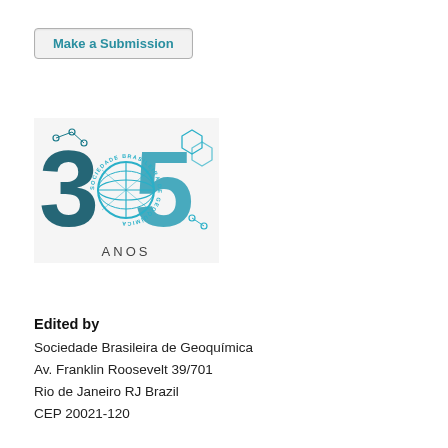Make a Submission
[Figure (logo): 35 Anos Sociedade Brasileira de Geoquímica anniversary logo showing large stylized '35' with globe emblem in center and molecular/hexagonal patterns, teal and dark blue colors]
Edited by
Sociedade Brasileira de Geoquímica
Av. Franklin Roosevelt 39/701
Rio de Janeiro RJ Brazil
CEP 20021-120